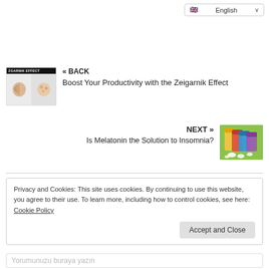🇬🇧 English ∨
« BACK
Boost Your Productivity with the Zeigarnik Effect
NEXT »
Is Melatonin the Solution to Insomnia?
Privacy and Cookies: This site uses cookies. By continuing to use this website, you agree to their use. To learn more, including how to control cookies, see here: Cookie Policy
Accept and Close
Yorumunuzu buraya yazın